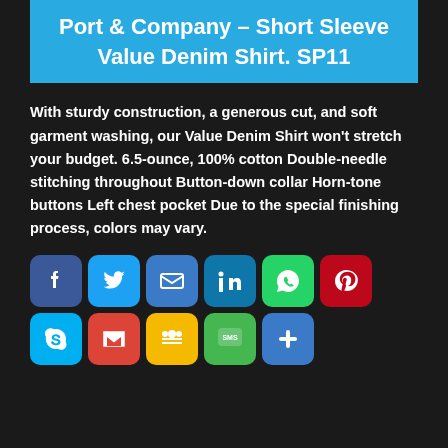Port & Company – Short Sleeve Value Denim Shirt. SP11
With sturdy construction, a generous cut, and soft garment washing, our Value Denim Shirt won't stretch your budget. 6.5-ounce, 100% cotton Double-needle stitching throughout Button-down collar Horn-tone buttons Left chest pocket Due to the special finishing process, colors may vary.
[Figure (infographic): Row of social media sharing icon buttons: Facebook, Twitter, Email, LinkedIn, WhatsApp, Pinterest, Skype, Gmail, Google Contacts, SMS, and a plus/more button]